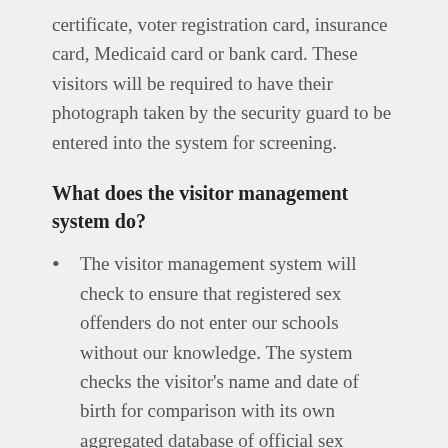certificate, voter registration card, insurance card, Medicaid card or bank card. These visitors will be required to have their photograph taken by the security guard to be entered into the system for screening.
What does the visitor management system do?
The visitor management system will check to ensure that registered sex offenders do not enter our schools without our knowledge. The system checks the visitor's name and date of birth for comparison with its own aggregated database of official sex offender registries from all 50 states. The system's